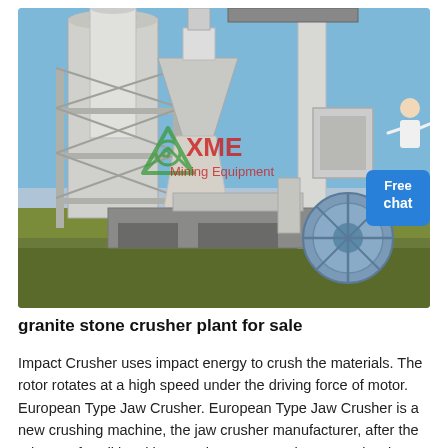[Figure (photo): Photo of a large industrial grinding mill / stone crusher plant (XME Mining Equipment branded) with white cylindrical and conical structures, pipes, and mechanical components outdoors against a blue sky. A 'Free chat' button overlay appears in the bottom right of the image.]
granite stone crusher plant for sale
Impact Crusher uses impact energy to crush the materials. The rotor rotates at a high speed under the driving force of motor. European Type Jaw Crusher. European Type Jaw Crusher is a new crushing machine, the jaw crusher manufacturer, after the release of traditional jaw crusher. Jaw Crusher. As a classic